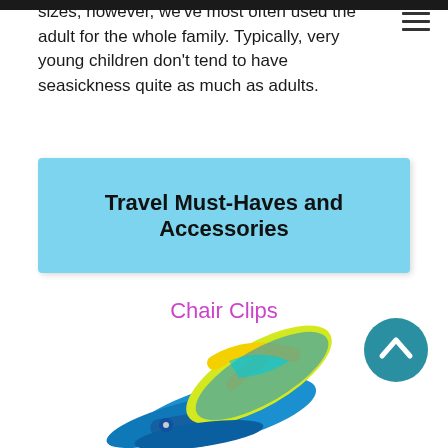sizes; however, we've most often used the adult for the whole family. Typically, very young children don't tend to have seasickness quite as much as adults.
Travel Must-Haves and Accessories
Chair Clips
[Figure (photo): A colorful blue and yellow flip flop chair clip product photo at the bottom of the page]